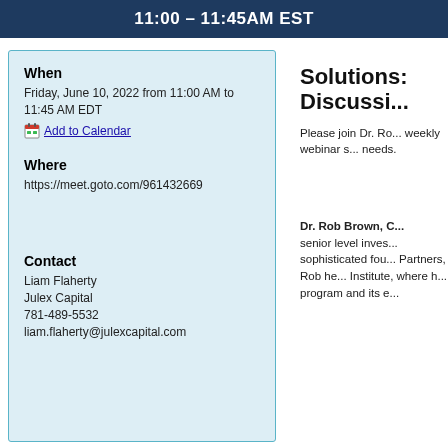11:00 – 11:45AM EST
When
Friday, June 10, 2022 from 11:00 AM to 11:45 AM EDT
Add to Calendar
Where
https://meet.goto.com/961432669
Contact
Liam Flaherty
Julex Capital
781-489-5532
liam.flaherty@julexcapital.com
Solutions: Discussi...
Please join Dr. Ro... weekly webinar s... needs.
Dr. Rob Brown, C... senior level inves... sophisticated fou... Partners, Rob he... Institute, where h... program and its e...